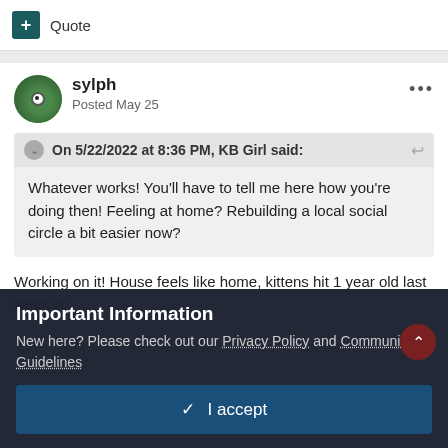Quote
sylph
Posted May 25
On 5/22/2022 at 8:36 PM, KB Girl said:
Whatever works! You'll have to tell me here how you're doing then! Feeling at home? Rebuilding a local social circle a bit easier now?
Working on it! House feels like home, kittens hit 1 year old last week so
Important Information
New here? Please check out our Privacy Policy and Community Guidelines
✓ I accept